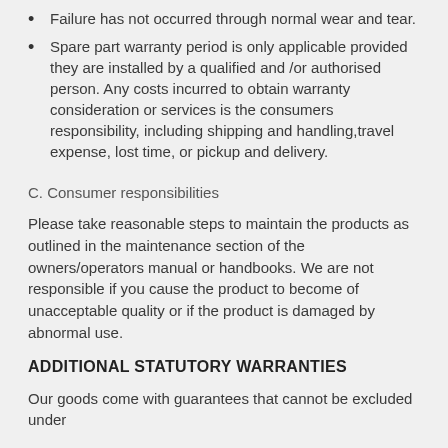Failure has not occurred through normal wear and tear.
Spare part warranty period is only applicable provided they are installed by a qualified and /or authorised person. Any costs incurred to obtain warranty consideration or services is the consumers responsibility, including shipping and handling,travel expense, lost time, or pickup and delivery.
C. Consumer responsibilities
Please take reasonable steps to maintain the products as outlined in the maintenance section of the owners/operators manual or handbooks. We are not responsible if you cause the product to become of unacceptable quality or if the product is damaged by abnormal use.
ADDITIONAL STATUTORY WARRANTIES
Our goods come with guarantees that cannot be excluded under